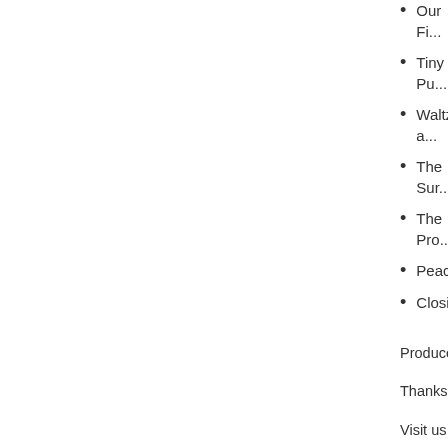Our Fi...
Tiny Pu...
Waltz a...
The Sur...
The Pro...
Peacoa...
Closing...
Produced by J...
Thanks for liste...
Visit us at Best...
Support the sh...
Listen on iTun...
Check out the...
Follow at Twitt...
Like at Facebo...
Contact me di...